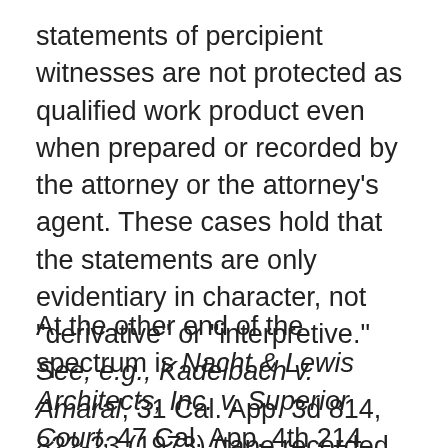statements of percipient witnesses are not protected as qualified work product even when prepared or recorded by the attorney or the attorney's agent. These cases hold that the statements are only evidentiary in character, not "derivative" or "interpretive." See, e.g., Kadelbach v. Amaral, 31 Cal. App. 3d 814, 822-23 (1973) (tape recorded statements made by witnesses to attorney were presumed to be evidentiary and nonderivative in character).
At the other end of the spectrum is Nacht & Lewis Architects, Inc. v. Superior Court, 47 Cal. App. 4th 214 (1996), where a California Court of Appeal indicated that whenever an attorney records in writing the substance of a witness' statement, all of